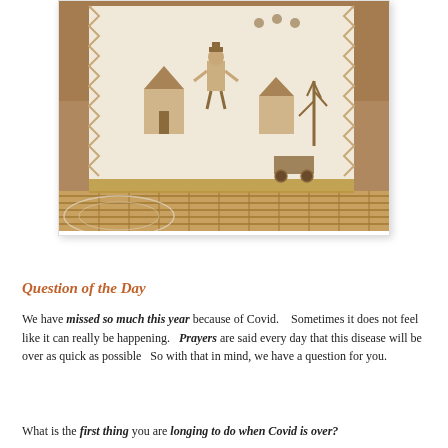[Figure (photo): A cross-stitch needlework piece wrapped around a wicker basket, displayed on a lace doily on a table. The embroidery features folk-art motifs including a figure, houses, trees, and a cart in muted tan and brown tones.]
Question of the Day
We have missed so much this year because of Covid.    Sometimes it does not feel like it can really be happening.   Prayers are said every day that this disease will be over as quick as possible   So with that in mind, we have a question for you.
What is the first thing you are longing to do when Covid is over?